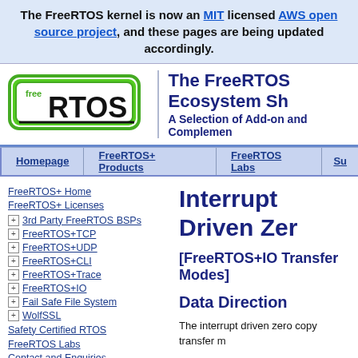The FreeRTOS kernel is now an MIT licensed AWS open source project, and these pages are being updated accordingly.
[Figure (logo): FreeRTOS logo - green rounded rectangle with 'free' superscript and 'RTOS' in large bold text with a horizontal line beneath]
The FreeRTOS Ecosystem Sh... A Selection of Add-on and Complemen...
Homepage | FreeRTOS+ Products | FreeRTOS Labs | Su...
FreeRTOS+ Home
FreeRTOS+ Licenses
3rd Party FreeRTOS BSPs
FreeRTOS+TCP
FreeRTOS+UDP
FreeRTOS+CLI
FreeRTOS+Trace
FreeRTOS+IO
Fail Safe File System
WolfSSL
Safety Certified RTOS
FreeRTOS Labs
Contact and Enquiries
Interrupt Driven Zer...
[FreeRTOS+IO Transfer Modes]
Data Direction
The interrupt driven zero copy transfer m...
Description